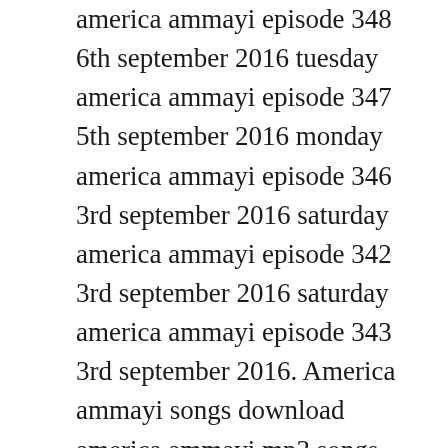america ammayi episode 348 6th september 2016 tuesday america ammayi episode 347 5th september 2016 monday america ammayi episode 346 3rd september 2016 saturday america ammayi episode 342 3rd september 2016 saturday america ammayi episode 343 3rd september 2016. America ammayi songs download america ammayi mp3 songs to your hungama account. Download free zee telugu serial soyagam free burimeena. Hoth lali ke hamra chat ke indal nirala new bhojpuri hot songs 2016 by bihariwood 4. Abhi mehra